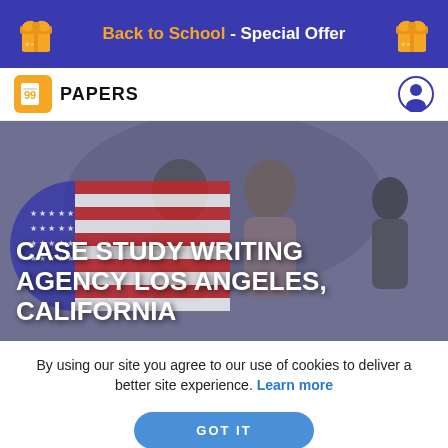Back to School - Special Offer
[Figure (screenshot): Papers.gg logo with quotation mark icon and navigation user account icon]
[Figure (photo): Two students smiling and looking at a book/device in a hallway, overlaid with a US flag graphic and bold white text reading CASE STUDY WRITING AGENCY LOS ANGELES, CALIFORNIA]
By using our site you agree to our use of cookies to deliver a better site experience. Learn more
GOT IT